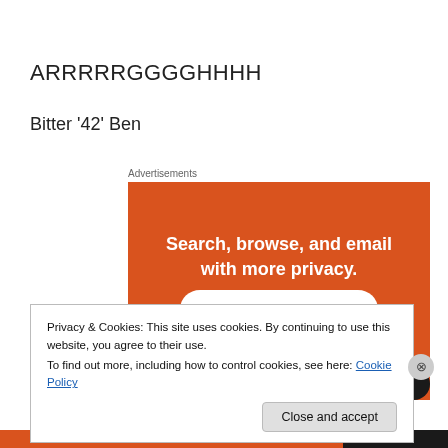ARRRRRGGGGHHHH
Bitter '42' Ben
Advertisements
[Figure (illustration): Orange advertisement banner reading 'Search, browse, and email with more privacy. All in One Free App' with a dark bottom bar.]
Privacy & Cookies: This site uses cookies. By continuing to use this website, you agree to their use.
To find out more, including how to control cookies, see here: Cookie Policy
Close and accept